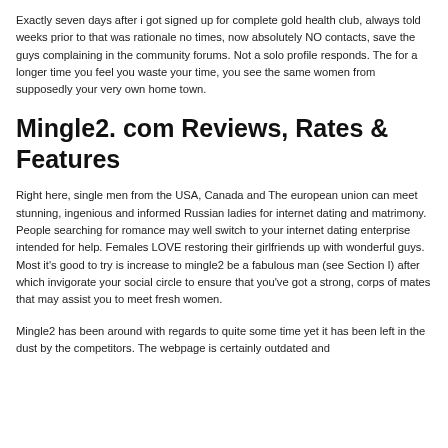Exactly seven days after i got signed up for complete gold health club, always told weeks prior to that was rationale no times, now absolutely NO contacts, save the guys complaining in the community forums. Not a solo profile responds. The for a longer time you feel you waste your time, you see the same women from supposedly your very own home town.
Mingle2. com Reviews, Rates & Features
Right here, single men from the USA, Canada and The european union can meet stunning, ingenious and informed Russian ladies for internet dating and matrimony. People searching for romance may well switch to your internet dating enterprise intended for help. Females LOVE restoring their girlfriends up with wonderful guys. Most it's good to try is increase to mingle2 be a fabulous man (see Section I) after which invigorate your social circle to ensure that you've got a strong, corps of mates that may assist you to meet fresh women.
Mingle2 has been around with regards to quite some time yet it has been left in the dust by the competitors. The webpage is certainly outdated and